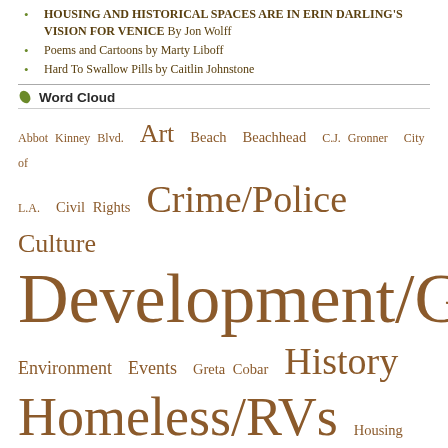HOUSING AND HISTORICAL SPACES ARE IN ERIN DARLING'S VISION FOR VENICE By Jon Wolff
Poems and Cartoons by Marty Liboff
Hard To Swallow Pills by Caitlin Johnstone
Word Cloud
[Figure (infographic): A word cloud showing various topic tags in different font sizes proportional to frequency. Topics include: Abbot Kinney Blvd., Art, Beach, Beachhead, C.J. Gronner, City of L.A., Civil Rights, Crime/Police, Culture, Development/Gentrification, Environment, Events, Greta Cobar, History, Homeless/RVs, Housing, Human Rights/Constitution, Jim Smith, Letters, Music, Neighborhood Council/Town Council, Obituary, Ocean Front Walk, Poetry, Politics, Swami X, Traffic/Parking, Uncategorized, Venice, Women]